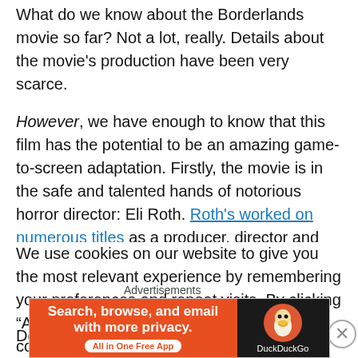What do we know about the Borderlands movie so far? Not a lot, really. Details about the movie's production have been very scarce.
However, we have enough to know that this film has the potential to be an amazing game-to-screen adaptation. Firstly, the movie is in the safe and talented hands of notorious horror director: Eli Roth. Roth's worked on numerous titles as a producer, director and occasional actor
We use cookies on our website to give you the most relevant experience by remembering your preferences and repeat visits. By clicking “Accept”, you consent to the use of ALL the cookies.
Do not sell my personal information.
[Figure (screenshot): DuckDuckGo advertisement banner: orange left panel with text 'Search, browse, and email with more privacy. All in One Free App' and dark right panel with DuckDuckGo duck logo and brand name.]